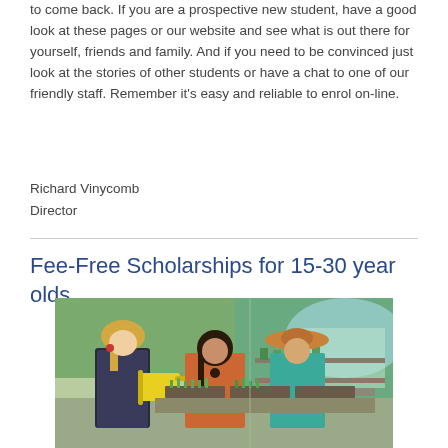to come back. If you are a prospective new student, have a good look at these pages or our website and see what is out there for yourself, friends and family. And if you need to be convinced just look at the stories of other students or have a chat to one of our friendly staff. Remember it's easy and reliable to enrol on-line.
Richard Vinycomb
Director
Fee-Free Scholarships for 15-30 year olds
[Figure (photo): Young people working in a greenhouse or garden nursery, tending to plants. Three people visible, one with blonde hair watering plants with a yellow watering can, another with dark hair, and a third wearing a wide-brim sun hat.]